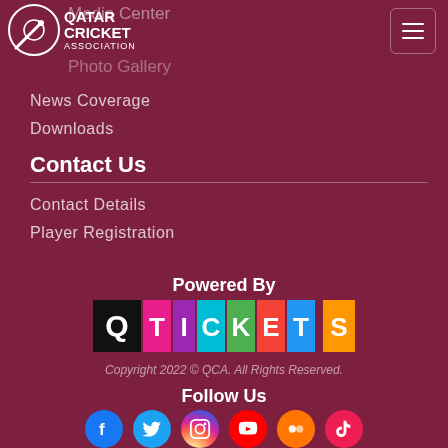[Figure (logo): Qatar Cricket Association logo with cricket ball/bat graphic and text QATAR CRICKET ASSOCIATION]
Media Center
Photo Gallery
News Coverage
Downloads
Contact Us
Contact Details
Player Registration
Powered By
[Figure (logo): QTickets logo — Q in black square followed by colorful letter tiles spelling TICKETS]
Copyright 2022 © QCA. All Rights Reserved.
Follow Us
[Figure (infographic): Row of 6 social media icons: Facebook (blue), Twitter (light blue), Instagram (gradient), YouTube (red), Flickr (orange), TikTok (pink/red)]